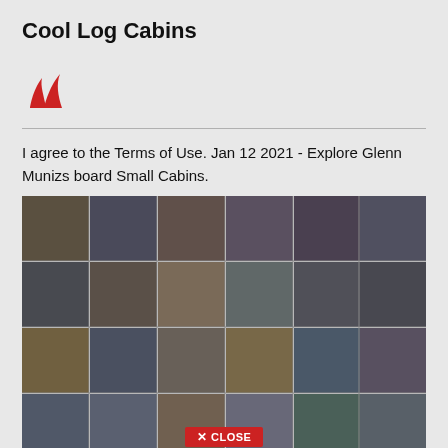Cool Log Cabins
[Figure (logo): Red stylized logo with two curved flame-like shapes on white/grey background]
I agree to the Terms of Use. Jan 12 2021 - Explore Glenn Munizs board Small Cabins.
[Figure (photo): Grid collage of many photos showing men sitting at tables, apparently in interview or discussion settings, arranged in a 6x5 grid mosaic]
Watching Movies Ryan Gosling Wears All The Omegas In First Man Like
[Figure (other): Red CLOSE button overlay at bottom center of page]